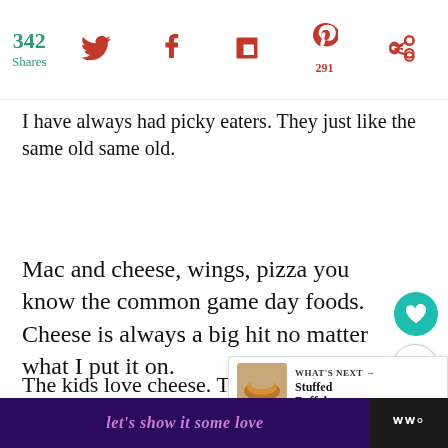342 Shares | social share icons | 291
I have always had picky eaters. They just like the same old same old.
Mac and cheese, wings, pizza you know the common game day foods. Cheese is always a big hit no matter what I put it on.
The kids love cheese. This buffalo chicken mac and cheese can have more than what the recipe calls for.
[Figure (screenshot): What's Next panel showing Stuffed Buffalo... with food image]
let's show it some love